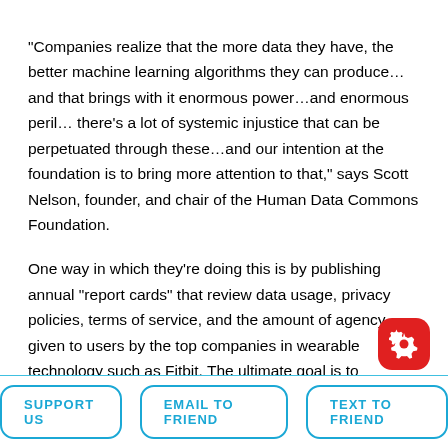“Companies realize that the more data they have, the better machine learning algorithms they can produce…and that brings with it enormous power…and enormous peril… there’s a lot of systemic injustice that can be perpetuated through these…and our intention at the foundation is to bring more attention to that,” says Scott Nelson, founder, and chair of the Human Data Commons Foundation.
One way in which they’re doing this is by publishing annual “report cards” that review data usage, privacy policies, terms of service, and the amount of agency given to users by the top companies in wearable technology such as Fitbit. The ultimate goal is to democratize, make more transparent, and advance human consciousness and
SUPPORT US | EMAIL TO FRIEND | TEXT TO FRIEND